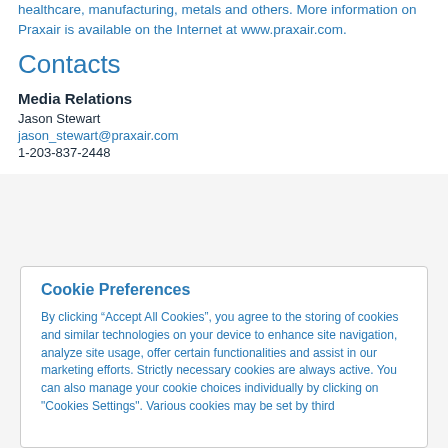healthcare, manufacturing, metals and others. More information on Praxair is available on the Internet at www.praxair.com.
Contacts
Media Relations
Jason Stewart
jason_stewart@praxair.com
1-203-837-2448
Cookie Preferences
By clicking “Accept All Cookies”, you agree to the storing of cookies and similar technologies on your device to enhance site navigation, analyze site usage, offer certain functionalities and assist in our marketing efforts. Strictly necessary cookies are always active. You can also manage your cookie choices individually by clicking on "Cookies Settings". Various cookies may be set by third